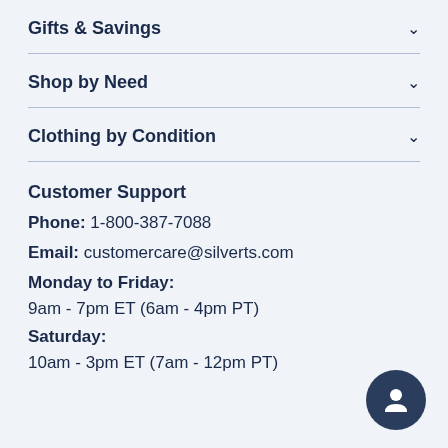Gifts & Savings
Shop by Need
Clothing by Condition
Customer Support
Phone: 1-800-387-7088
Email: customercare@silverts.com
Monday to Friday:
9am - 7pm ET (6am - 4pm PT)
Saturday:
10am - 3pm ET (7am - 12pm PT)
[Figure (illustration): Chat/contact support button icon (person silhouette with speech bubble) in dark navy circle]